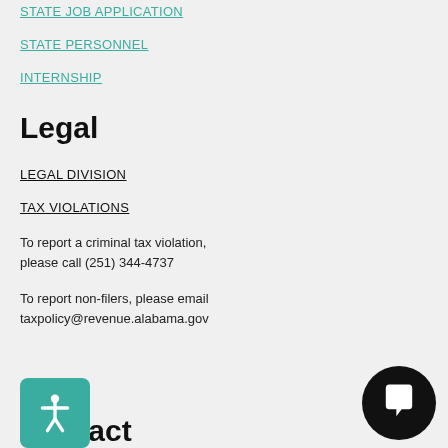STATE JOB APPLICATION
STATE PERSONNEL
INTERNSHIP
Legal
LEGAL DIVISION
TAX VIOLATIONS
To report a criminal tax violation, please call (251) 344-4737
To report non-filers, please email taxpolicy@revenue.alabama.gov
Contact